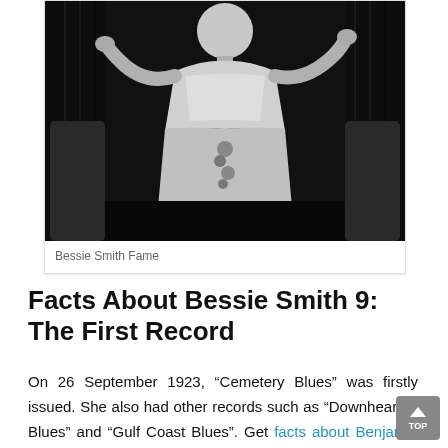[Figure (photo): Black and white photograph of Bessie Smith in a lace dress with arms outstretched]
Bessie Smith Fame
Facts About Bessie Smith 9: The First Record
On 26 September 1923, “Cemetery Blues” was firstly issued. She also had other records such as “Downhearted Blues” and “Gulf Coast Blues”. Get facts about Benjamin Britten here.